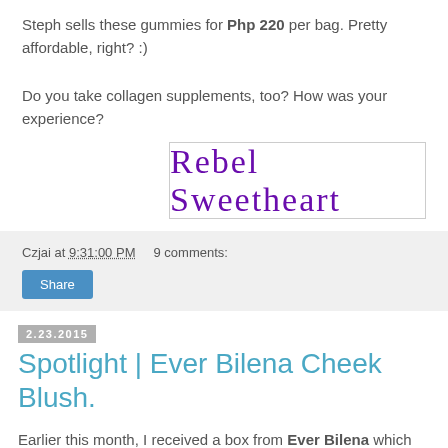Steph sells these gummies for Php 220 per bag. Pretty affordable, right? :)
Do you take collagen supplements, too? How was your experience?
[Figure (illustration): Cursive signature reading 'Rebel Sweetheart' in purple ink inside a rectangular border]
Czjai at 9:31:00 PM   9 comments:
Share
2.23.2015
Spotlight | Ever Bilena Cheek Blush.
Earlier this month, I received a box from Ever Bilena which contained some of the brand's best-selling products. I'll be featuring every single item in the package (although I have